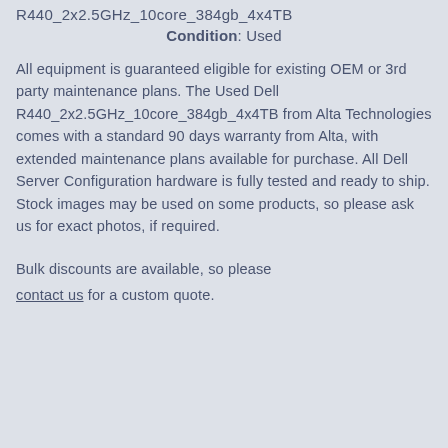R440_2x2.5GHz_10core_384gb_4x4TB
Condition: Used
All equipment is guaranteed eligible for existing OEM or 3rd party maintenance plans. The Used Dell R440_2x2.5GHz_10core_384gb_4x4TB from Alta Technologies comes with a standard 90 days warranty from Alta, with extended maintenance plans available for purchase. All Dell Server Configuration hardware is fully tested and ready to ship. Stock images may be used on some products, so please ask us for exact photos, if required.
Bulk discounts are available, so please contact us for a custom quote.